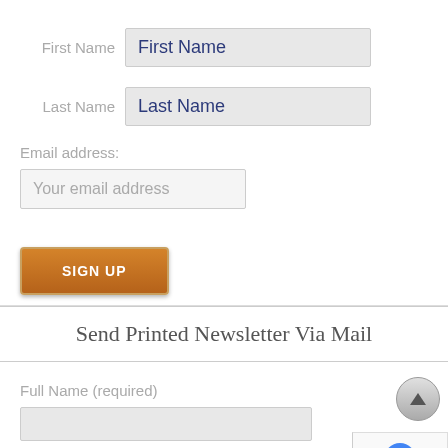First Name
First Name (input placeholder)
Last Name
Last Name (input placeholder)
Email address:
Your email address (input placeholder)
SIGN UP
Send Printed Newsletter Via Mail
Full Name (required)
Full Address (required)